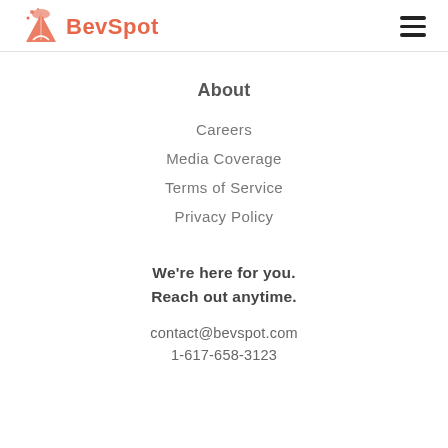BevSpot
About
Careers
Media Coverage
Terms of Service
Privacy Policy
We're here for you.
Reach out anytime.
contact@bevspot.com
1-617-658-3123